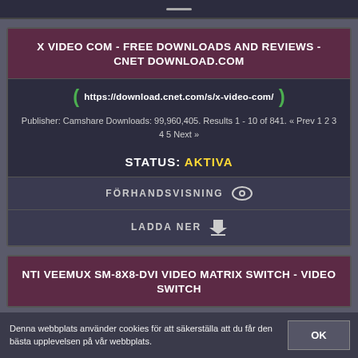[Figure (screenshot): Top strip of a dark UI card with a short horizontal line]
X VIDEO COM - FREE DOWNLOADS AND REVIEWS - CNET DOWNLOAD.COM
https://download.cnet.com/s/x-video-com/
Publisher: Camshare Downloads: 99,960,405. Results 1 - 10 of 841. « Prev 1 2 3 4 5 Next »
STATUS: AKTIVA
FÖRHANDSVISNING
LADDA NER
NTI VEEMUX SM-8X8-DVI VIDEO MATRIX SWITCH - VIDEO SWITCH
Denna webbplats använder cookies för att säkerställa att du får den bästa upplevelsen på vår webbplats.